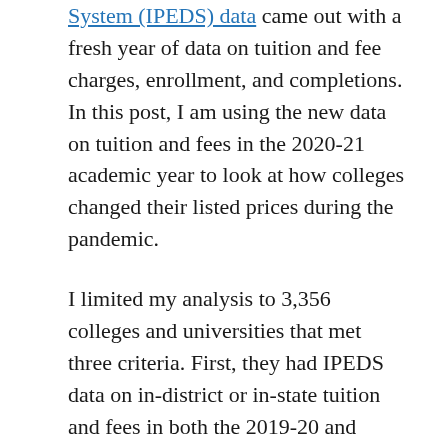System (IPEDS) data came out with a fresh year of data on tuition and fee charges, enrollment, and completions. In this post, I am using the new data on tuition and fees in the 2020-21 academic year to look at how colleges changed their listed prices during the pandemic.
I limited my analysis to 3,356 colleges and universities that met three criteria. First, they had IPEDS data on in-district or in-state tuition and fees in both the 2019-20 and 2020-21 academic years. Second, they reported data for the typical program of study (academic year reporters) instead of separately for large programs (program reporters). This excluded most certificate-dominant institutions. Third,